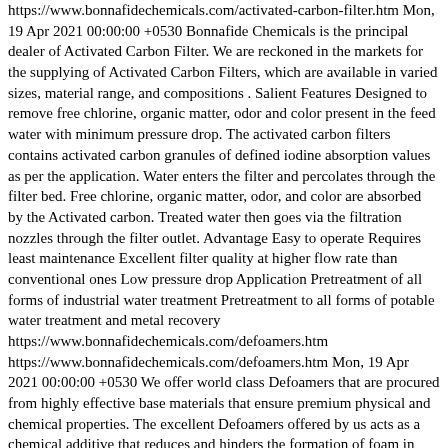https://www.bonnafidechemicals.com/activated-carbon-filter.htm Mon, 19 Apr 2021 00:00:00 +0530 Bonnafide Chemicals is the principal dealer of Activated Carbon Filter. We are reckoned in the markets for the supplying of Activated Carbon Filters, which are available in varied sizes, material range, and compositions . Salient Features Designed to remove free chlorine, organic matter, odor and color present in the feed water with minimum pressure drop. The activated carbon filters contains activated carbon granules of defined iodine absorption values as per the application. Water enters the filter and percolates through the filter bed. Free chlorine, organic matter, odor, and color are absorbed by the Activated carbon. Treated water then goes via the filtration nozzles through the filter outlet. Advantage Easy to operate Requires least maintenance Excellent filter quality at higher flow rate than conventional ones Low pressure drop Application Pretreatment of all forms of industrial water treatment Pretreatment to all forms of potable water treatment and metal recovery https://www.bonnafidechemicals.com/defoamers.htm https://www.bonnafidechemicals.com/defoamers.htm Mon, 19 Apr 2021 00:00:00 +0530 We offer world class Defoamers that are procured from highly effective base materials that ensure premium physical and chemical properties. The excellent Defoamers offered by us acts as a chemical additive that reduces and hinders the formation of foam in industrial process liquids. The low viscosity of our chemical in the market has placed us amidst the luminary